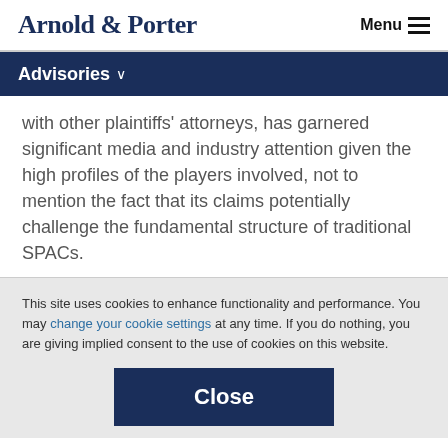Arnold & Porter  Menu
Advisories
with other plaintiffs' attorneys, has garnered significant media and industry attention given the high profiles of the players involved, not to mention the fact that its claims potentially challenge the fundamental structure of traditional SPACs.
This site uses cookies to enhance functionality and performance. You may change your cookie settings at any time. If you do nothing, you are giving implied consent to the use of cookies on this website.
Close